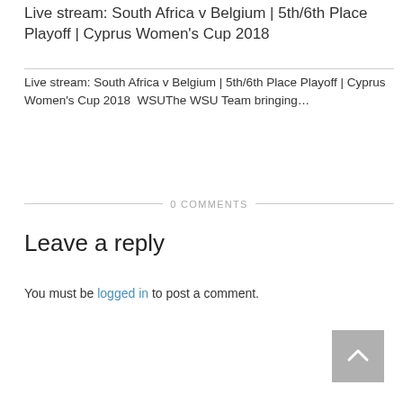Live stream: South Africa v Belgium | 5th/6th Place Playoff | Cyprus Women's Cup 2018
Live stream: South Africa v Belgium | 5th/6th Place Playoff | Cyprus Women's Cup 2018   WSUThe WSU Team bringing…
0 COMMENTS
Leave a reply
You must be logged in to post a comment.